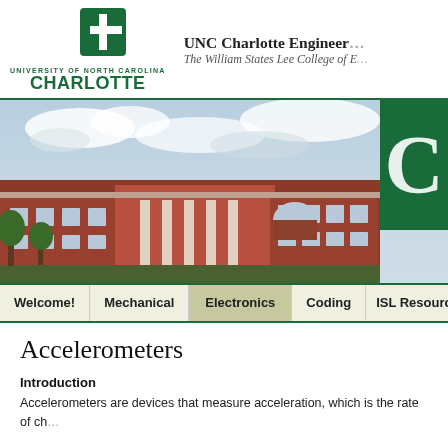UNC Charlotte Engineering | The William States Lee College of E…
[Figure (photo): Photograph of UNC Charlotte engineering building (red brick, large columns) under a partly cloudy sky, with a dark green overlay panel in the top-right corner showing a large white letter 'C'.]
Accelerometers
Introduction
Accelerometers are devices that measure acceleration, which is the rate of ch…